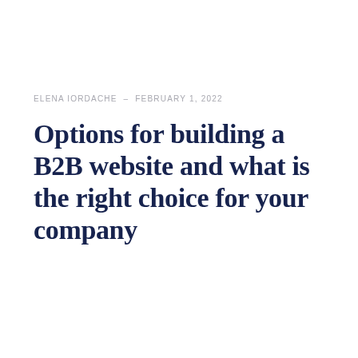ELENA IORDACHE - FEBRUARY 1, 2022
Options for building a B2B website and what is the right choice for your company